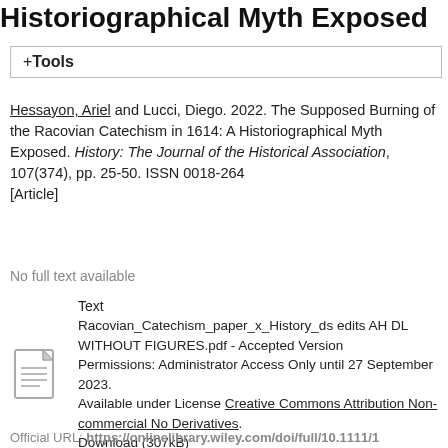Historiographical Myth Exposed
+ Tools
Hessayon, Ariel and Lucci, Diego. 2022. The Supposed Burning of the Racovian Catechism in 1614: A Historiographical Myth Exposed. History: The Journal of the Historical Association, 107(374), pp. 25-50. ISSN 0018-264 [Article]
No full text available
Text
Racovian_Catechism_paper_x_History_ds edits AH DL WITHOUT FIGURES.pdf - Accepted Version
Permissions: Administrator Access Only until 27 September 2023.
Available under License Creative Commons Attribution Non-commercial No Derivatives.
Download (307kB)
Official URL: https://onlinelibrary.wiley.com/doi/full/10.1111/1